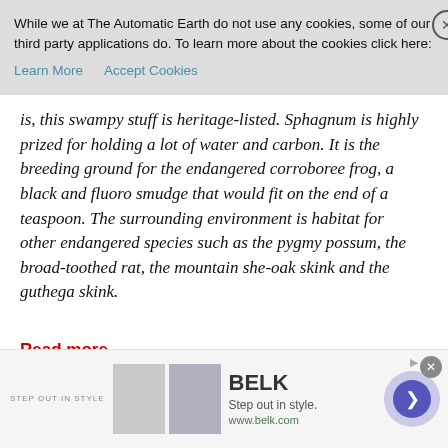[Figure (screenshot): Cookie consent banner overlay: 'While we at The Automatic Earth do not use any cookies, some of our third party applications do. To learn more about the cookies click here: Learn More | Accept Cookies' with a close X button]
is, this swampy stuff is heritage-listed. Sphagnum is highly prized for holding a lot of water and carbon. It is the breeding ground for the endangered corroboree frog, a black and fluoro smudge that would fit on the end of a teaspoon. The surrounding environment is habitat for other endangered species such as the pygmy possum, the broad-toothed rat, the mountain she-oak skink and the guthega skink.
Read more …
Sad.
Lions Hunted to Preserve Rhinos in South African Circle of Life (Bloomberg)
[Figure (screenshot): Advertisement banner for BELK: 'Step out in style. www.belk.com' with clothing images and a purple arrow button, close X button top right]